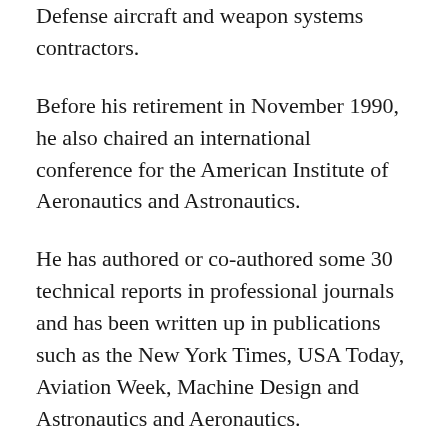Defense aircraft and weapon systems contractors.
Before his retirement in November 1990, he also chaired an international conference for the American Institute of Aeronautics and Astronautics.
He has authored or co-authored some 30 technical reports in professional journals and has been written up in publications such as the New York Times, USA Today, Aviation Week, Machine Design and Astronautics and Aeronautics.
If aviation is his vocation, his avocation is music. Chakoian played the violin for some time and is an accomplished pianist. He leads a group called the New England Ararat Orchestra. Now, however, his